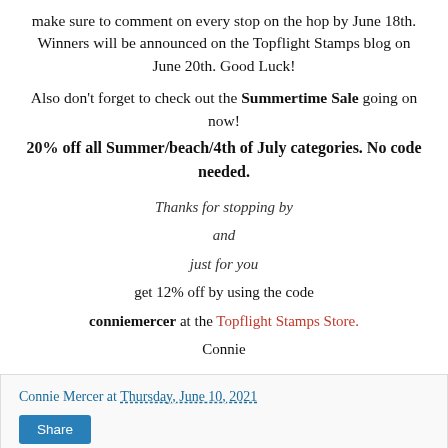make sure to comment on every stop on the hop by June 18th. Winners will be announced on the Topflight Stamps blog on June 20th. Good Luck!
Also don't forget to check out the Summertime Sale going on now!
20% off all Summer/beach/4th of July categories. No code needed.
Thanks for stopping by
and
just for you
get 12% off by using the code
conniemercer at the Topflight Stamps Store.
Connie
Connie Mercer at Thursday, June 10, 2021
Share
22 comments: